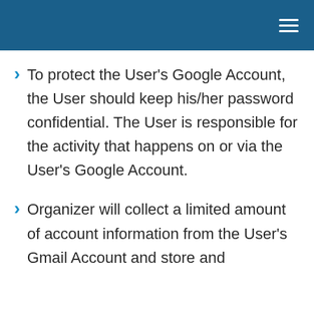To protect the User's Google Account, the User should keep his/her password confidential. The User is responsible for the activity that happens on or via the User's Google Account.
Organizer will collect a limited amount of account information from the User's Gmail Account and store and